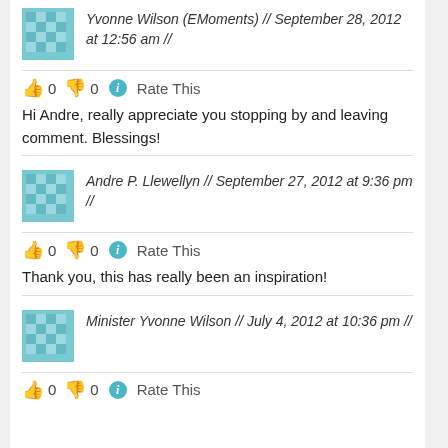Yvonne Wilson (EMoments) // September 28, 2012 at 12:56 am //
👍 0 👎 0 ℹ Rate This
Hi Andre, really appreciate you stopping by and leaving comment. Blessings!
Andre P. Llewellyn // September 27, 2012 at 9:36 pm //
👍 0 👎 0 ℹ Rate This
Thank you, this has really been an inspiration!
Minister Yvonne Wilson // July 4, 2012 at 10:36 pm //
👍 0 👎 0 ℹ Rate This